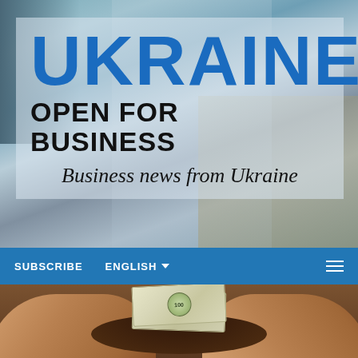[Figure (photo): Collage background of industrial facilities, workers in orange suits, and agricultural/infrastructure scenes]
UKRAINE OPEN FOR BUSINESS
Business news from Ukraine
SUBSCRIBE   ENGLISH ▾
[Figure (photo): Close-up of two hands holding dark soil with a stack of US $100 dollar bills on top]